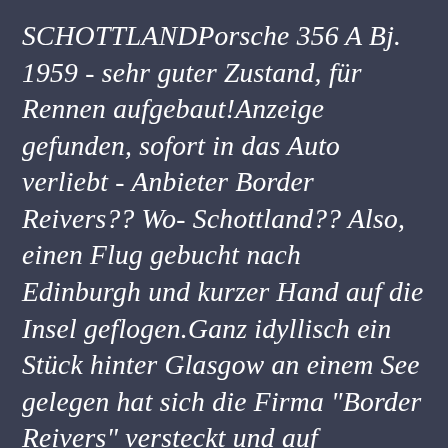SCHOTTLANDPorsche 356 A Bj. 1959 - sehr guter Zustand, für Rennen aufgebaut!Anzeige gefunden, sofort in das Auto verliebt - Anbieter Border Reivers?? Wo- Schottland?? Also, einen Flug gebucht nach Edinburgh und kurzer Hand auf die Insel geflogen.Ganz idyllisch ein Stück hinter Glasgow an einem See gelegen hat sich die Firma "Border Reivers" versteckt und auf hochwertige Autos spezialisiert.Der Inhaber - Tom Fitzsimmons ist mehr als freundlich uns hilfsbereit und versucht seinen Kunden fast jeden Wunsch von den Augen abzulesen, hat uns spät nachts noch zum Essen